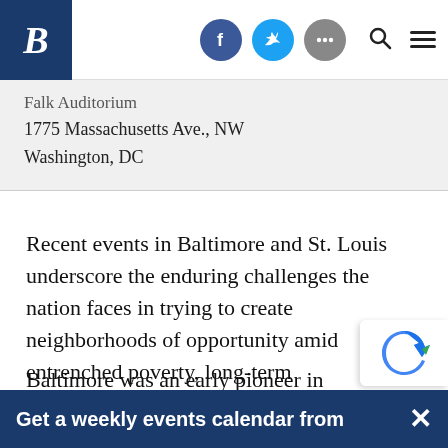B [Brookings logo]
Falk Auditorium
1775 Massachusetts Ave., NW
Washington, DC
Recent events in Baltimore and St. Louis underscore the enduring challenges the nation faces in trying to create neighborhoods of opportunity amid entrenched poverty, long-term disinvestment, and stark racial divides.
Baltimore was an early pioneer in applying new comprehensive approaches to neighborhood...
Get a weekly events calendar from